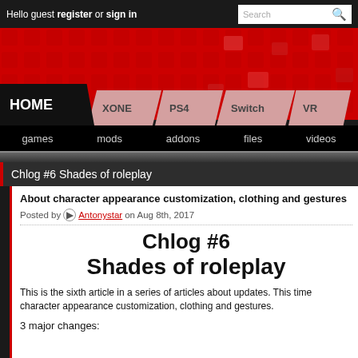Hello guest register or sign in  Search
[Figure (screenshot): Red banner with grid/tile pattern background for gaming website]
HOME  XONE  PS4  Switch  VR
games  mods  addons  files  videos
Chlog #6 Shades of roleplay
About character appearance customization, clothing and gestures
Posted by Antonystar on Aug 8th, 2017
Chlog #6
Shades of roleplay
This is the sixth article in a series of articles about updates. This time character appearance customization, clothing and gestures.
3 major changes: